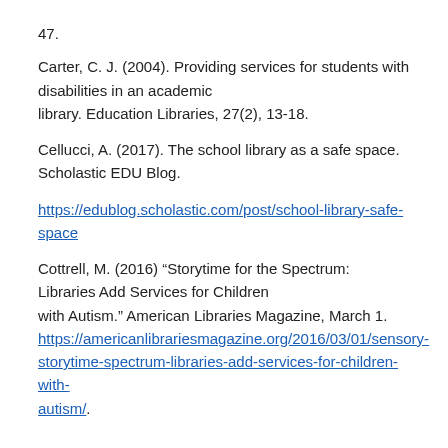47.
Carter, C. J. (2004). Providing services for students with disabilities in an academic library. Education Libraries, 27(2), 13-18.
Cellucci, A. (2017). The school library as a safe space. Scholastic EDU Blog.
https://edublog.scholastic.com/post/school-library-safe-space
Cottrell, M. (2016) “Storytime for the Spectrum: Libraries Add Services for Children with Autism.” American Libraries Magazine, March 1. https://americanlibrariesmagazine.org/2016/03/01/sensory-storytime-spectrum-libraries-add-services-for-children-with-autism/.